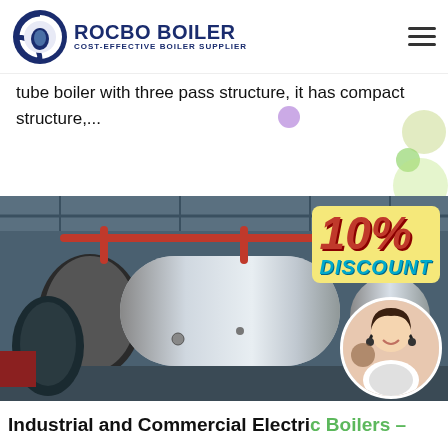ROCBO BOILER — COST-EFFECTIVE BOILER SUPPLIER
tube boiler with three pass structure, it has compact structure,...
Get Price
[Figure (photo): Industrial boiler facility interior showing large silver cylindrical boilers with pipework and overhead structure. Overlay shows 10% DISCOUNT badge and a customer service representative in a circular inset.]
Industrial and Commercial Electric Boilers –